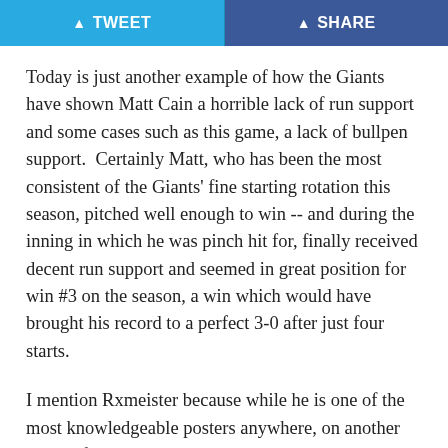TWEET   SHARE
Today is just another example of how the Giants have shown Matt Cain a horrible lack of run support and some cases such as this game, a lack of bullpen support.  Certainly Matt, who has been the most consistent of the Giants' fine starting rotation this season, pitched well enough to win -- and during the inning in which he was pinch hit for, finally received decent run support and seemed in great position for win #3 on the season, a win which would have brought his record to a perfect 3-0 after just four starts.
I mention Rxmeister because while he is one of the most knowledgeable posters anywhere, on another now-defunct Giants board got sucked up the thinking that Matt Cain can't hold a lead.  Today, of course, he didn't get that chance -- although he certainly kept the Giants in the game with his fine start, to the point where their three-run outburst in the eighth seemed guaranteed to provide him with another win.